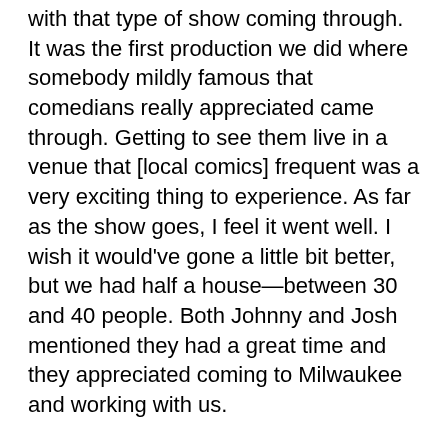with that type of show coming through. It was the first production we did where somebody mildly famous that comedians really appreciated came through. Getting to see them live in a venue that [local comics] frequent was a very exciting thing to experience. As far as the show goes, I feel it went well. I wish it would've gone a little bit better, but we had half a house—between 30 and 40 people. Both Johnny and Josh mentioned they had a great time and they appreciated coming to Milwaukee and working with us.
MR: What did it feel like when you learned you got the Nick Thune show?
SB: When I got the email, I ran around with my arms up with a smile on my face—which is a very